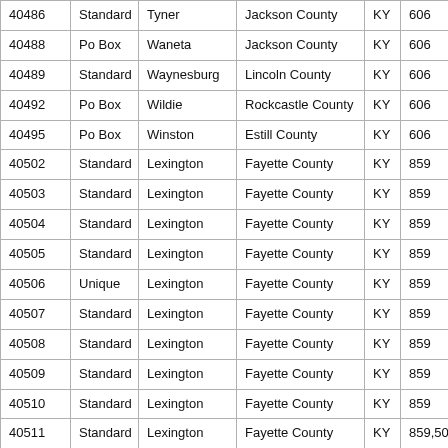| 40486 | Standard | Tyner | Jackson County | KY | 606 |
| 40488 | Po Box | Waneta | Jackson County | KY | 606 |
| 40489 | Standard | Waynesburg | Lincoln County | KY | 606 |
| 40492 | Po Box | Wildie | Rockcastle County | KY | 606 |
| 40495 | Po Box | Winston | Estill County | KY | 606 |
| 40502 | Standard | Lexington | Fayette County | KY | 859 |
| 40503 | Standard | Lexington | Fayette County | KY | 859 |
| 40504 | Standard | Lexington | Fayette County | KY | 859 |
| 40505 | Standard | Lexington | Fayette County | KY | 859 |
| 40506 | Unique | Lexington | Fayette County | KY | 859 |
| 40507 | Standard | Lexington | Fayette County | KY | 859 |
| 40508 | Standard | Lexington | Fayette County | KY | 859 |
| 40509 | Standard | Lexington | Fayette County | KY | 859 |
| 40510 | Standard | Lexington | Fayette County | KY | 859 |
| 40511 | Standard | Lexington | Fayette County | KY | 859,502 |